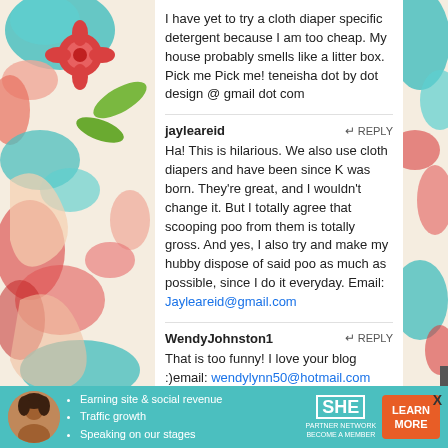[Figure (illustration): Decorative floral/scroll pattern border on left and right sides of the page in red, teal/turquoise, and pink on a cream background]
I have yet to try a cloth diaper specific detergent because I am too cheap. My house probably smells like a litter box. Pick me Pick me! teneisha dot by dot design @ gmail dot com
jayleareid   ↵ REPLY
Ha! This is hilarious. We also use cloth diapers and have been since K was born. They're great, and I wouldn't change it. But I totally agree that scooping poo from them is totally gross. And yes, I also try and make my hubby dispose of said poo as much as possible, since I do it everyday. Email: Jayleareid@gmail.com
WendyJohnston1   ↵ REPLY
That is too funny!  I love your blog :)email: wendylynn50@hotmail.com
zelmania   ↵ REPLY
I also had Adventures in Cloth Diapering, I thought what
[Figure (screenshot): Advertisement banner for SHE Media Partner Network featuring a woman, bullet points about earning site & social revenue, traffic growth, speaking on stages, SHE logo, and a Learn More button]